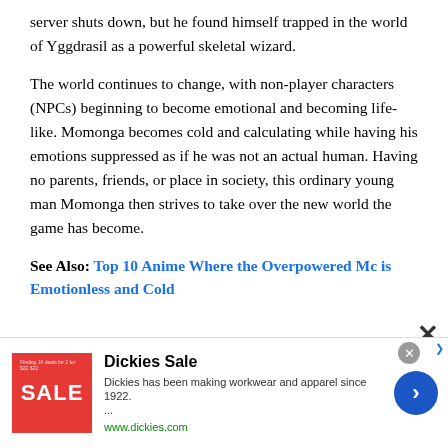server shuts down, but he found himself trapped in the world of Yggdrasil as a powerful skeletal wizard.
The world continues to change, with non-player characters (NPCs) beginning to become emotional and becoming life-like. Momonga becomes cold and calculating while having his emotions suppressed as if he was not an actual human. Having no parents, friends, or place in society, this ordinary young man Momonga then strives to take over the new world the game has become.
See Also: Top 10 Anime Where the Overpowered Mc is Emotionless and Cold
2. T[image]n
[Figure (photo): Partial anime character image in black and white, partially obscured by ad banner]
[Figure (screenshot): Advertisement banner for Dickies Sale. Red square logo with SALE text, ad title 'Dickies Sale', description 'Dickies has been making workwear and apparel since 1922. ... www.dickies.com', blue circular arrow button]